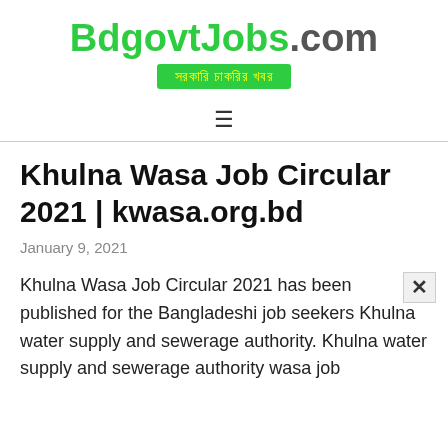BdgovtJobs.com — সরকারি চাকরির খবর
Khulna Wasa Job Circular 2021 | kwasa.org.bd
January 9, 2021
Khulna Wasa Job Circular 2021 has been published for the Bangladeshi job seekers Khulna water supply and sewerage authority. Khulna water supply and sewerage authority wasa job